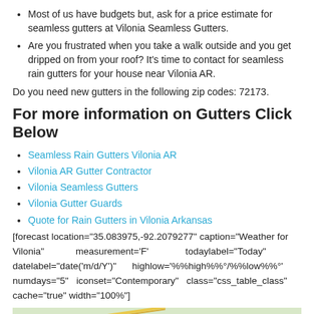Most of us have budgets but, ask for a price estimate for seamless gutters at Vilonia Seamless Gutters.
Are you frustrated when you take a walk outside and you get dripped on from your roof? It's time to contact for seamless rain gutters for your house near Vilonia AR.
Do you need new gutters in the following zip codes: 72173.
For more information on Gutters Click Below
Seamless Rain Gutters Vilonia AR
Vilonia AR Gutter Contractor
Vilonia Seamless Gutters
Vilonia Gutter Guards
Quote for Rain Gutters in Vilonia Arkansas
[forecast location="35.083975,-92.2079277" caption="Weather for Vilonia" measurement='F' todaylabel="Today" datelabel="date('m/d/Y')" highlow='%%high%%°/%%low%%°' numdays="5" iconset="Contemporary" class="css_table_class" cache="true" width="100%"]
[Figure (map): A map showing a road near El Paso area, with highway 287 marked and a blue arrow indicating direction.]